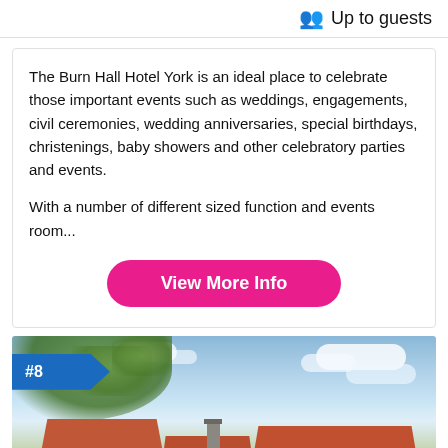Up to guests
The Burn Hall Hotel York is an ideal place to celebrate those important events such as weddings, engagements, civil ceremonies, wedding anniversaries, special birthdays, christenings, baby showers and other celebratory parties and events.

With a number of different sized function and events room...
View More Info
[Figure (photo): Exterior photo of a building (likely Burn Hall Hotel) with red/orange rooftops, dark timber framing, a chimney, tree foliage in foreground, and a partly cloudy blue sky. A blue badge with #8 is overlaid in the top-left corner.]